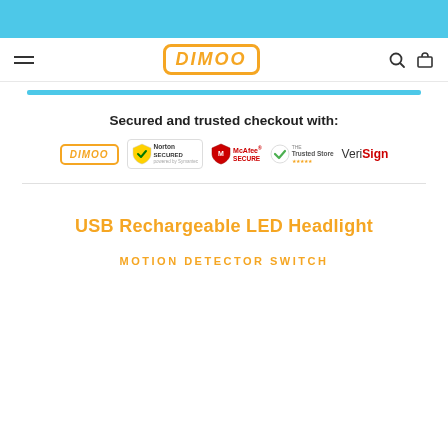[Figure (logo): Blue top banner bar]
DIMOO navigation bar with hamburger menu, DIMOO logo, search and cart icons
[Figure (infographic): Blue progress/checkout bar]
Secured and trusted checkout with:
[Figure (infographic): Trust badges: DIMOO logo, Norton Secured powered by Symantec, McAfee Secure, Google Trusted Store, VeriSign]
USB Rechargeable LED Headlight
MOTION DETECTOR SWITCH